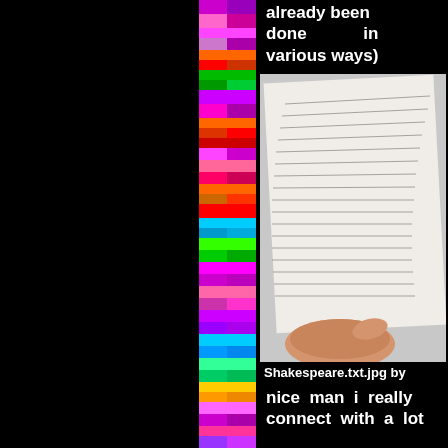already been done in various ways)
[Figure (photo): A hand holding or pointing to a printed page of what appears to be source code or programming text (Shakespeare.txt)]
Shakespeare.txt.jpg by
nice man i really connect with a lot